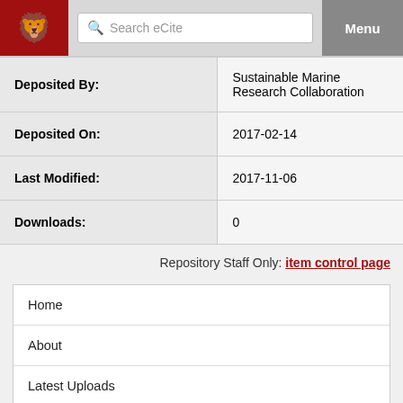Search eCite | Menu
| Field | Value |
| --- | --- |
| Deposited By: | Sustainable Marine Research Collaboration |
| Deposited On: | 2017-02-14 |
| Last Modified: | 2017-11-06 |
| Downloads: | 0 |
Repository Staff Only: item control page
Home
About
Latest Uploads
Open Access